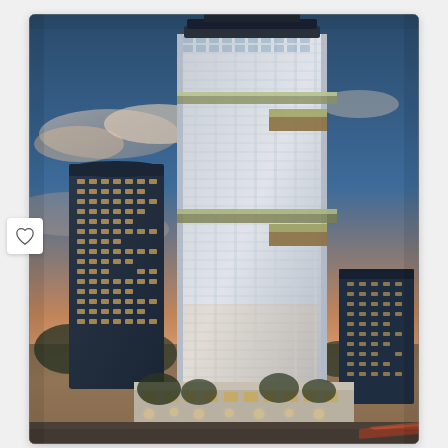[Figure (photo): Architectural rendering of a tall modern glass and steel residential skyscraper at dusk, with surrounding city skyline, other residential towers, trees, and a dramatic cloudy sunset sky. A heart/favorite icon is visible on the left edge of the image.]